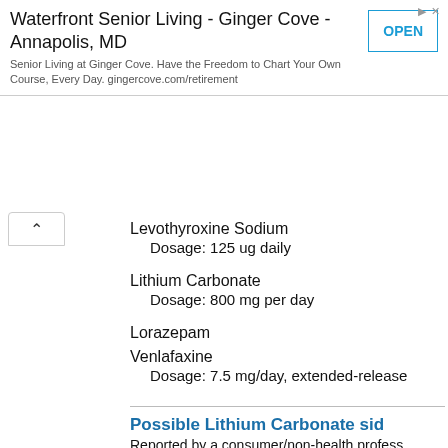[Figure (screenshot): Advertisement banner for Waterfront Senior Living - Ginger Cove - Annapolis, MD with an OPEN button]
Levothyroxine Sodium
  Dosage: 125 ug daily
Lithium Carbonate
  Dosage: 800 mg per day
Lorazepam
Venlafaxine
  Dosage: 7.5 mg/day, extended-release
Zopiclone
  Dosage: 7.5 mg
Possible Lithium Carbonate sid
Reported by a consumer/non-health profess